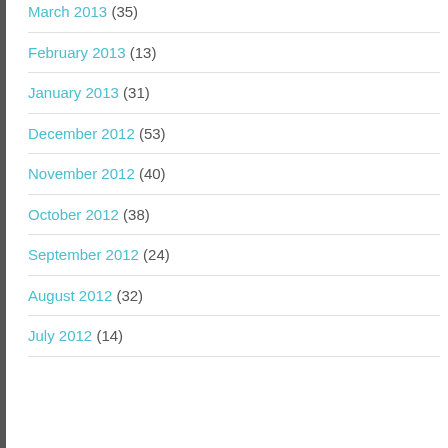March 2013 (35)
February 2013 (13)
January 2013 (31)
December 2012 (53)
November 2012 (40)
October 2012 (38)
September 2012 (24)
August 2012 (32)
July 2012 (14)